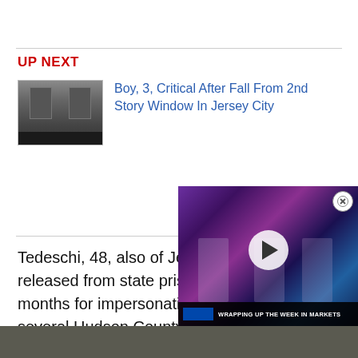UP NEXT
Boy, 3, Critical After Fall From 2nd Story Window In Jersey City
Tedeschi, 48, also of Jersey City had been released from state prison after serving 20 months for impersonating a police officer in several Hudson County towns when he robbed the Valley National branch with Hernandez and Lazizi.
Taking a plea deal, he admi also robbed another bank i
[Figure (screenshot): Video player overlay showing two men in suits at a desk with colorful city lights background, with play button and caption bar reading 'WRAPPING UP THE WEEK IN MARKETS']